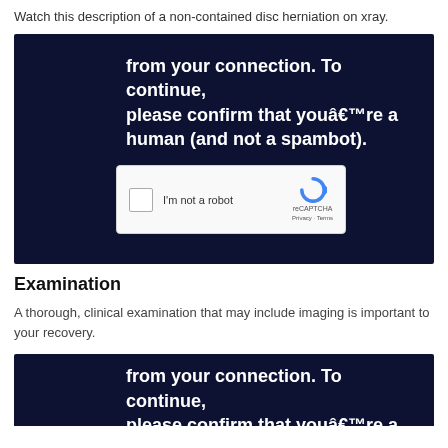Watch this description of a non-contained disc herniation on xray.
[Figure (screenshot): A dark navy blue CAPTCHA verification box showing partial text 'from your connection. To continue, please confirm that youâ€™re a human (and not a spambot).' with a reCAPTCHA widget containing a checkbox labeled 'I'm not a robot' and reCAPTCHA logo with Privacy and Terms links.]
Examination
A thorough, clinical examination that may include imaging is important to your recovery.
[Figure (screenshot): A dark navy blue CAPTCHA verification box showing partial text 'from your connection. To continue, please confirm that youâ€™re a' (cut off at bottom of page).]